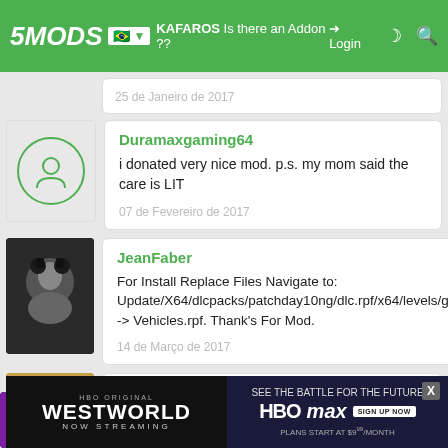5MODS | KAFAROS Is there an Addon ?? Login
25 de Janeiro de 2017
Duramaxgaming64
i donated very nice mod. p.s. my mom said the care is LIT
07 de Fevereiro de 2017
JeanFaber
For Install Replace Files Navigate to: Update/X64/dlcpacks/patchday10ng/dlc.rpf/x64/levels/gta5--> Vehicles.rpf. Thank's For Mod.
14 de Março de 2017
UNKNWN
@KAFAROS Can i make a add-on ?
26 de Maio de 2017
[Figure (screenshot): HBO Original Westworld NOW STREAMING advertisement and HBO Max SIGN UP NOW banner at bottom]